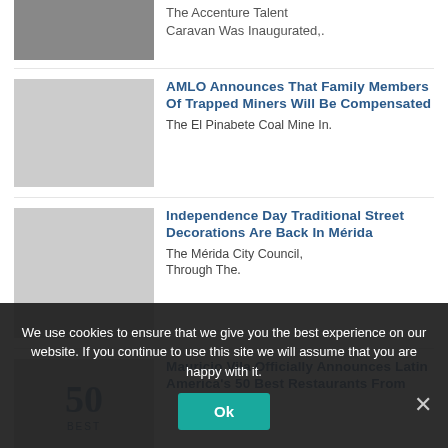[Figure (photo): Partial image of a person at a purple/colorful event, cropped at top]
The Accenture Talent Caravan Was Inaugurated,.
[Figure (photo): Man speaking at a podium with the Mexican flag in the background (AMLO)]
AMLO Announces That Family Members Of Trapped Miners Will Be Compensated
The El Pinabete Coal Mine In.
[Figure (photo): Park or street with trees and decorations/structures in Mérida]
Independence Day Traditional Street Decorations Are Back In Mérida
The Mérida City Council, Through The.
[Figure (photo): 50 Best Restaurants logo/sign with teal and blue colors]
Mauricio Vila Officially Announces Latin America's 50 Best Restaurants From
We use cookies to ensure that we give you the best experience on our website. If you continue to use this site we will assume that you are happy with it.
Ok